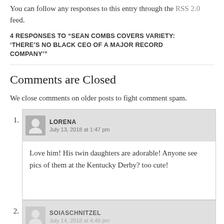You can follow any responses to this entry through the RSS 2.0 feed.
4 RESPONSES TO “SEAN COMBS COVERS VARIETY: ‘THERE’S NO BLACK CEO OF A MAJOR RECORD COMPANY’”
Comments are Closed
We close comments on older posts to fight comment spam.
1. LORENA
July 13, 2018 at 1:47 pm
Love him! His twin daughters are adorable! Anyone see pics of them at the Kentucky Derby? too cute!
2. SOIASCHNITZEL
July 14, 2018 at 4:49 pm
He’s making a very good point. Not